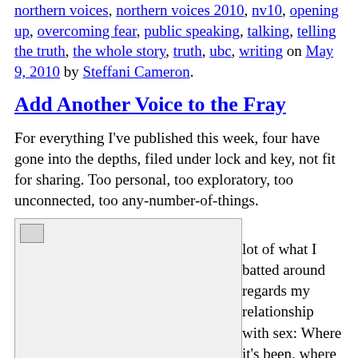northern voices, northern voices 2010, nv10, opening up, overcoming fear, public speaking, talking, telling the truth, the whole story, truth, ubc, writing on May 9, 2010 by Steffani Cameron.
Add Another Voice to the Fray
For everything I've published this week, four have gone into the depths, filed under lock and key, not fit for sharing. Too personal, too exploratory, too unconnected, too any-number-of-things.
[Figure (photo): An image placeholder (broken/loading image icon) floated left, approximately 285x245px with light gray background and border.]
A lot of what I batted around regards my relationship with sex: Where it's been, where it went, why it changed, why it matters, what it means,  why my voice is relevant, and why I feel I need to re-enter that sexual fray. Back in the day, when I was tapping sex blogging regularly, I was